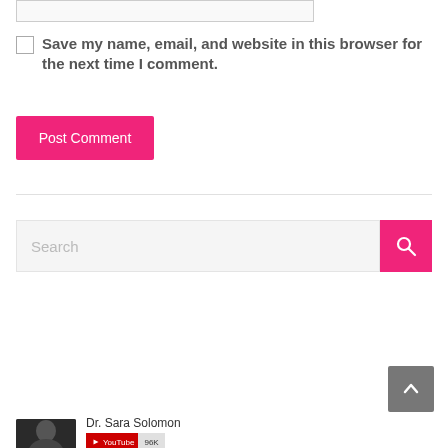[Figure (screenshot): Text input field (form element)]
Save my name, email, and website in this browser for the next time I comment.
[Figure (screenshot): Post Comment button (pink/magenta)]
[Figure (screenshot): Search bar with pink search button and magnifying glass icon]
[Figure (screenshot): Back to top button (gray with caret up arrow)]
Dr. Sara Solomon
[Figure (screenshot): YouTube subscriber badge showing 96K subscribers]